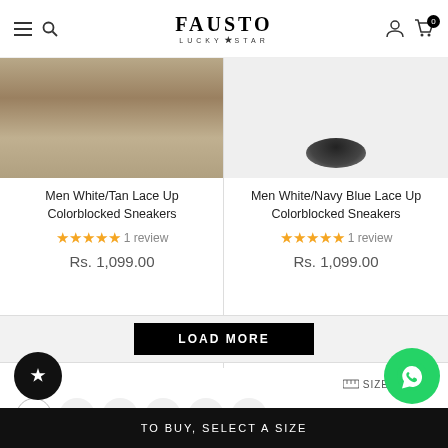FAUSTO LUCKY STAR
[Figure (photo): Product image top portion - Men White/Tan Lace Up Colorblocked Sneakers on textured surface]
[Figure (photo): Product image top portion - Men White/Navy Blue Lace Up Colorblocked Sneakers on white background]
Men White/Tan Lace Up Colorblocked Sneakers
1 review
Rs. 1,099.00
Men White/Navy Blue Lace Up Colorblocked Sneakers
1 review
Rs. 1,099.00
LOAD MORE
SIZE: 6
SIZE CHART
6
7
8
9
10
11
TO BUY, SELECT A SIZE